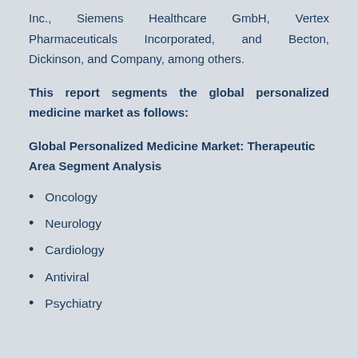Inc., Siemens Healthcare GmbH, Vertex Pharmaceuticals Incorporated, and Becton, Dickinson, and Company, among others.
This report segments the global personalized medicine market as follows:
Global Personalized Medicine Market: Therapeutic Area Segment Analysis
Oncology
Neurology
Cardiology
Antiviral
Psychiatry